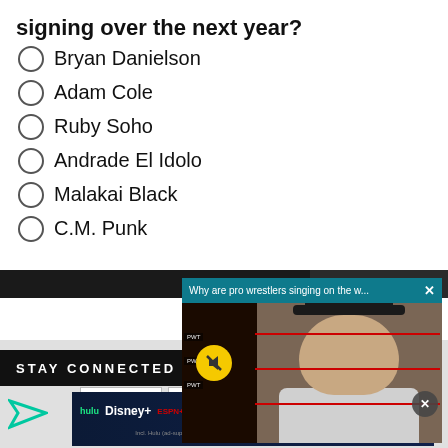signing over the next year?
Bryan Danielson
Adam Cole
Ruby Soho
Andrade El Idolo
Malakai Black
C.M. Punk
[Figure (screenshot): Video overlay popup with teal header reading 'Why are pro wrestlers singing on the w...' with close X button. Below is a video player labeled PWTORCH showing a man in a black baseball cap. A yellow mute button is visible. A dark close circle button appears at right.]
STAY CONNECTED
[Figure (screenshot): Disney Bundle advertisement with Hulu, Disney+, ESPN+ logos and 'GET THE DISNEY BUNDLE' call-to-action button. Fine print reads: Incl. Hulu (ad-supported) or Hulu (No Ads). Access content from each service separately. ©2021 Disney and its related entities]